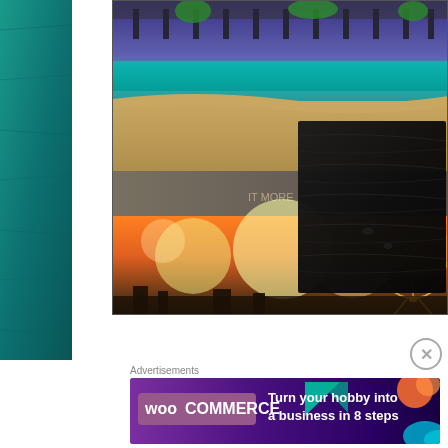[Figure (photo): Composite collage showing a pier/boardwalk scene with teal water at top, a brown/tan sandy beach scene in middle, a dark black textured leather-like surface overlaid in center, and a bokeh/ferris wheel night scene at bottom with orange warm tones]
[Figure (photo): Teal fabric textured sidebar on the left]
Advertisements
[Figure (other): WooCommerce advertisement banner: purple/dark background with teal and orange triangle decorations, WooCommerce logo on left, text 'Turn your hobby into a business in 8 steps']